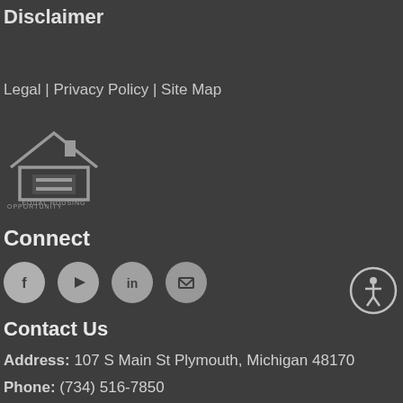Disclaimer
Legal | Privacy Policy | Site Map
[Figure (logo): Equal Housing Opportunity logo — house outline with an equals sign, text EQUAL HOUSING OPPORTUNITY below]
Connect
[Figure (illustration): Four social media icon circles (Facebook, Twitter/YouTube, LinkedIn, email/other) in gray]
[Figure (illustration): Accessibility icon — circle with person figure inside]
Contact Us
Address: 107 S Main St Plymouth, Michigan 48170
Phone: (734) 516-7850
Fax: (734) 468-0197